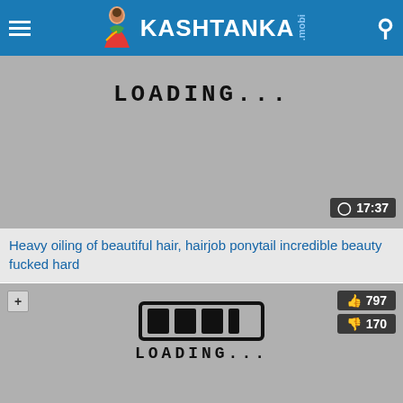KASHTANKA.mobi
[Figure (screenshot): Video thumbnail showing hand-drawn loading text 'LOADING...' on grey background with duration badge '17:37']
Heavy oiling of beautiful hair, hairjob ponytail incredible beauty fucked hard
[Figure (screenshot): Video thumbnail showing a hand-drawn loading progress bar and text 'LOADING...' on grey background with like count 797 and dislike count 170]